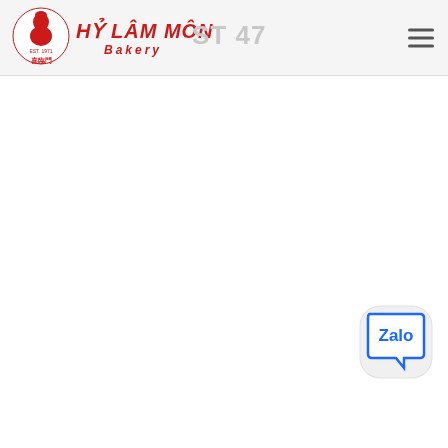HỶ LÂM MÔN Bakery — POST 47
[Figure (logo): Hỷ Lâm Môn Bakery logo with red Vietnamese text, a chef figure, and Chinese characters, plus a hamburger menu icon on the right]
[Figure (logo): Zalo chat widget button — circular icon with 'Zalo' text in blue on white/light grey background]